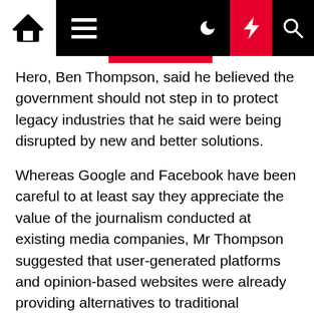Navigation bar with home, menu, moon, bolt, and search icons
Hero, Ben Thompson, said he believed the government should not step in to protect legacy industries that he said were being disrupted by new and better solutions.
Whereas Google and Facebook have been careful to at least say they appreciate the value of the journalism conducted at existing media companies, Mr Thompson suggested that user-generated platforms and opinion-based websites were already providing alternatives to traditional journalism.
“Entrepreneurs benefit from the natural cycle of creative destruction. Old ideas are continuously destroyed and replaced by better ideas,” Mr Thompson said.
“For example, more contemporary news and